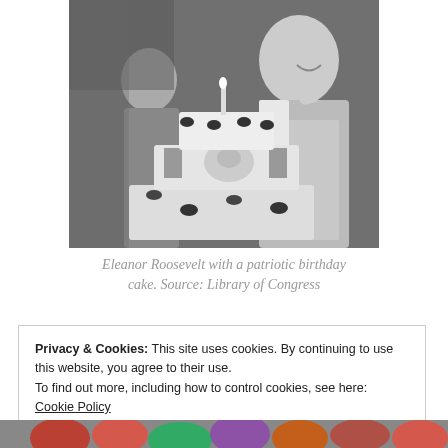[Figure (photo): Black and white photograph of Eleanor Roosevelt standing next to a large multi-tiered patriotic birthday cake decorated with flowers and flags, laughing and raising her hand.]
Eleanor Roosevelt with a patriotic birthday cake. Source: Library of Congress
Privacy & Cookies: This site uses cookies. By continuing to use this website, you agree to their use.
To find out more, including how to control cookies, see here: Cookie Policy
Close and accept